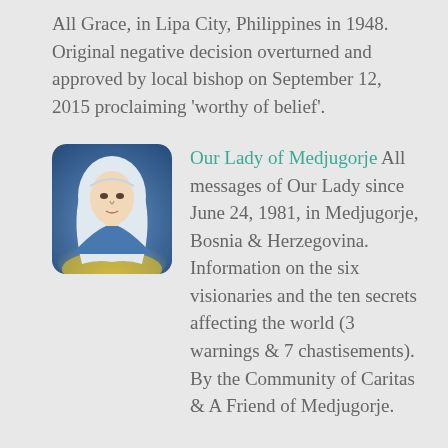All Grace, in Lipa City, Philippines in 1948. Original negative decision overturned and approved by local bishop on September 12, 2015 proclaiming 'worthy of belief'.
[Figure (illustration): Painting of Our Lady (Virgin Mary) with white veil, blue background with yellow rays, rounded square format]
Our Lady of Medjugorje All messages of Our Lady since June 24, 1981, in Medjugorje, Bosnia & Herzegovina. Information on the six visionaries and the ten secrets affecting the world (3 warnings & 7 chastisements). By the Community of Caritas & A Friend of Medjugorje.
Our Lady of Medjugorje – Messages in 90 Languages
Translation Instructions